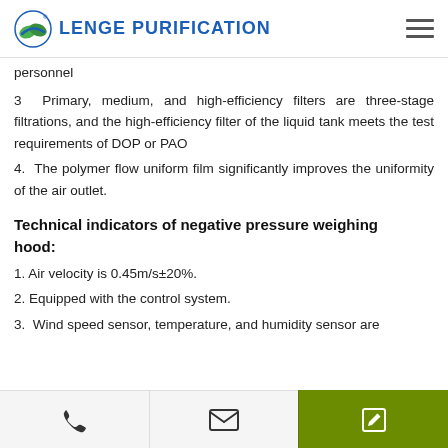LENGE PURIFICATION
personnel
3  Primary, medium, and high-efficiency filters are three-stage filtrations, and the high-efficiency filter of the liquid tank meets the test requirements of DOP or PAO
4.  The polymer flow uniform film significantly improves the uniformity of the air outlet.
Technical indicators of negative pressure weighing hood:
1. Air velocity is 0.45m/s±20%.
2. Equipped with the control system.
3.  Wind speed sensor, temperature, and humidity sensor are